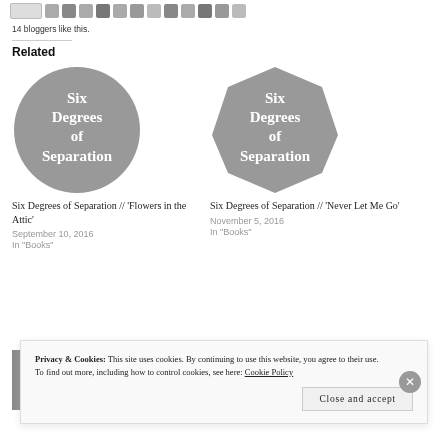14 bloggers like this.
Related
[Figure (illustration): Circle badge with text 'Six Degrees of Separation' on grey background, left related article]
Six Degrees of Separation // 'Flowers in the Attic'
September 10, 2016
In 'Books'
[Figure (illustration): Circle badge with text 'Six Degrees of Separation' on grey background, right related article]
Six Degrees of Separation // 'Never Let Me Go'
November 5, 2016
In 'Books'
[Figure (photo): Thumbnail strip of book spines]
Privacy & Cookies: This site uses cookies. By continuing to use this website, you agree to their use.
To find out more, including how to control cookies, see here: Cookie Policy
Close and accept